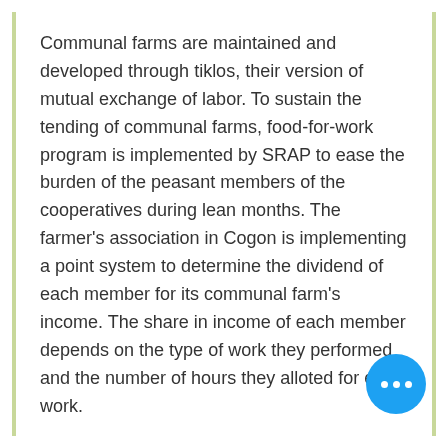Communal farms are maintained and developed through tiklos, their version of mutual exchange of labor. To sustain the tending of communal farms, food-for-work program is implemented by SRAP to ease the burden of the peasant members of the cooperatives during lean months. The farmer's association in Cogon is implementing a point system to determine the dividend of each member for its communal farm's income. The share in income of each member depends on the type of work they performed and the number of hours they alloted for each work.
In Cogon, ducks were provided to the cooperative by SRAP. The cooperative